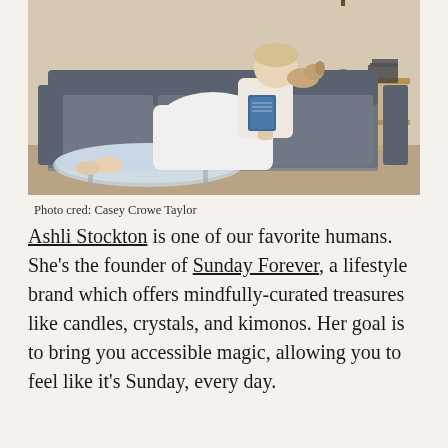[Figure (photo): A woman in a white dress lounging on a dark grey sofa, reading a book with a small dog beside her. A glass coffee table and a wooden side table with decor items are visible in the background.]
Photo cred: Casey Crowe Taylor
Ashli Stockton is one of our favorite humans. She’s the founder of Sunday Forever, a lifestyle brand which offers mindfully-curated treasures like candles, crystals, and kimonos. Her goal is to bring you accessible magic, allowing you to feel like it’s Sunday, every day.